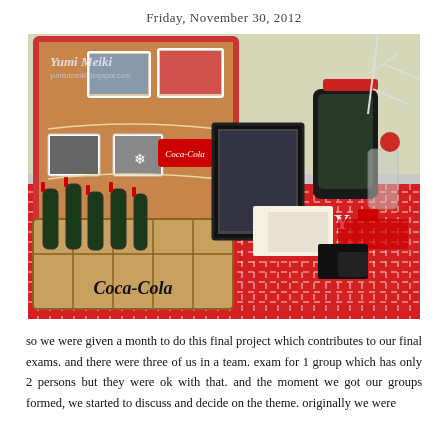Friday, November 30, 2012
[Figure (photo): A decorated table with a red and white gingham tablecloth featuring Coca-Cola bottles in a wooden crate, a cork bulletin board with photos and a Coca-Cola sign hanging on string, framed photos, a black chalkboard sign, decorative white branches, and red themed party decorations. A watermark in the top-left reads 'Yumi Meiki' and 'yumiuimeiki.blogspot.com'.]
so we were given a month to do this final project which contributes to our final exams. and there were three of us in a team. exam for 1 group which has only 2 persons but they were ok with that. and the moment we got our groups formed, we started to discuss and decide on the theme. originally we were